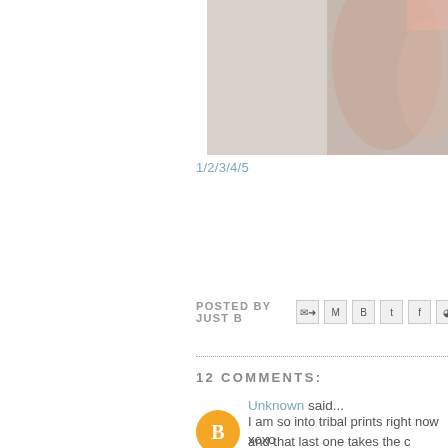[Figure (photo): Partial photo of a person's arm/hand against a light gray background, cropped — upper right portion of the page]
1/2/3/4/5
POSTED BY JUST B
12 COMMENTS:
Unknown said...
I am so into tribal prints right now and that last one takes the c
xoxo
-linh